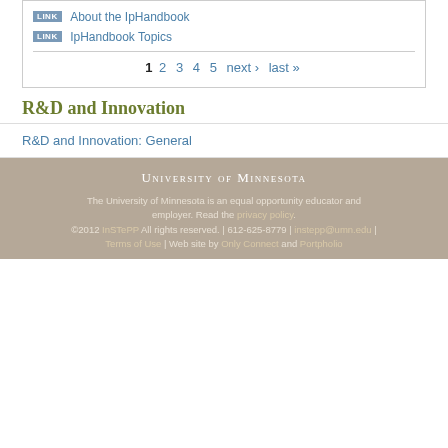LINK About the IpHandbook
LINK IpHandbook Topics
1 2 3 4 5 next › last »
R&D and Innovation
R&D and Innovation: General
Evaluating R&D
Global R&D
Policy
University of Minnesota
The University of Minnesota is an equal opportunity educator and employer. Read the privacy policy.
©2012 InSTePP All rights reserved. | 612-625-8779 | instepp@umn.edu | Terms of Use | Web site by Only Connect and Portpholio